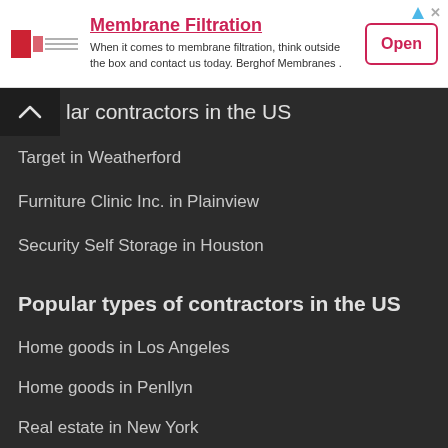[Figure (other): Advertisement banner for Berghof Membranes membrane filtration with logo, text and Open button]
…plar contractors in the US
Target in Weatherford
Furniture Clinic Inc. in Plainview
Security Self Storage in Houston
Popular types of contractors in the US
Home goods in Los Angeles
Home goods in Penllyn
Real estate in New York
New cities with contractors in the US